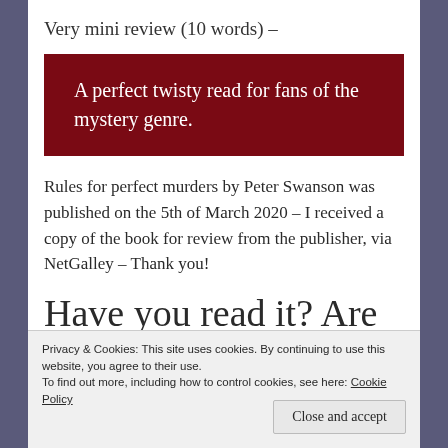Very mini review (10 words) –
A perfect twisty read for fans of the mystery genre.
Rules for perfect murders by Peter Swanson was published on the 5th of March 2020 – I received a copy of the book for review from the publisher, via NetGalley – Thank you!
Have you read it? Are you
Privacy & Cookies: This site uses cookies. By continuing to use this website, you agree to their use.
To find out more, including how to control cookies, see here: Cookie Policy